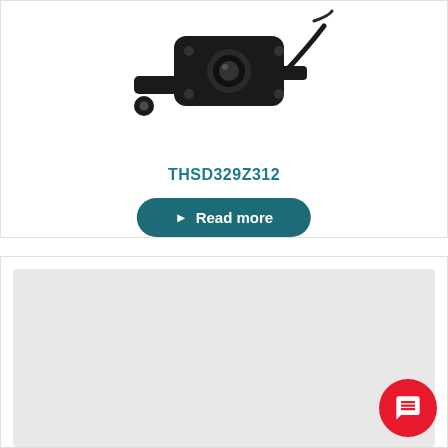[Figure (photo): Product photo of a black automotive sensor/bracket component (THSD329Z312) against white background]
THSD329Z312
Read more
[Figure (photo): Light gray placeholder image area for a second product, with a red circular chat/support button in the bottom right corner]